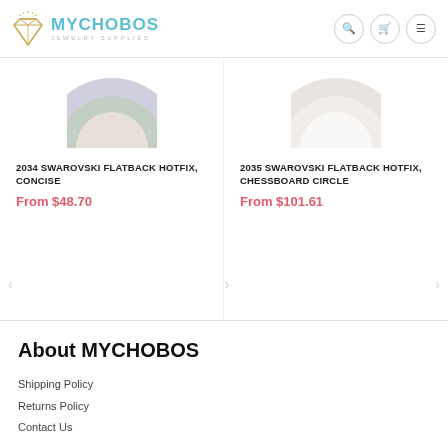MYCHOBOS JEWELRY SUPPLIES
2034 SWAROVSKI FLATBACK HOTFIX, CONCISE
From $48.70
2035 SWAROVSKI FLATBACK HOTFIX, CHESSBOARD CIRCLE
From $101.61
About MYCHOBOS
Shipping Policy
Returns Policy
Contact Us